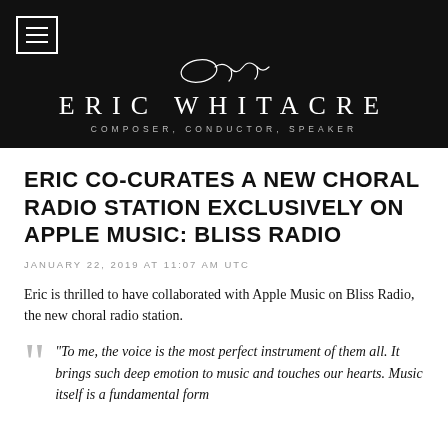ERIC WHITACRE — COMPOSER, CONDUCTOR, SPEAKER
ERIC CO-CURATES A NEW CHORAL RADIO STATION EXCLUSIVELY ON APPLE MUSIC: BLISS RADIO
JANUARY 22, 2019 AT 11:07 AM UTC
Eric is thrilled to have collaborated with Apple Music on Bliss Radio, the new choral radio station.
"To me, the voice is the most perfect instrument of them all. It brings such deep emotion to music and touches our hearts. Music itself is a fundamental form